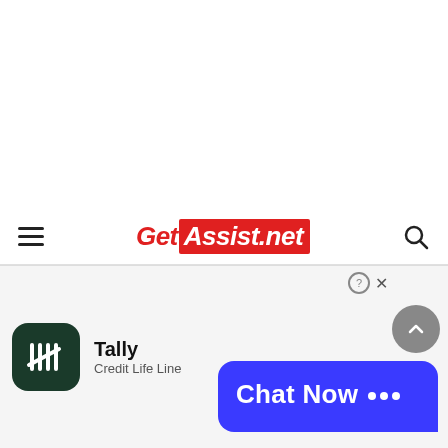[Figure (screenshot): White blank area taking up the upper portion of the page]
GetAssist.net navigation bar with hamburger menu, logo, and search icon
[Figure (logo): Tally app icon - dark green rounded square with white tally marks]
Tally
Credit Life Line
[Figure (infographic): Blue Chat Now bubble with ellipsis dots, with close (x) and help (?) buttons above]